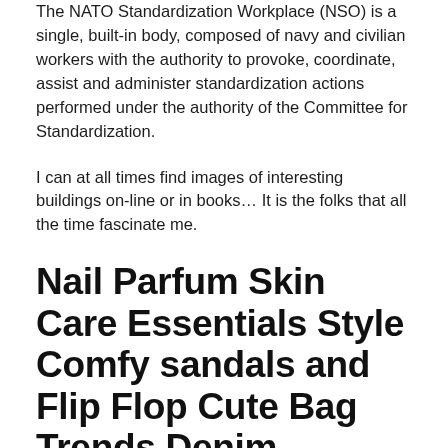The NATO Standardization Workplace (NSO) is a single, built-in body, composed of navy and civilian workers with the authority to provoke, coordinate, assist and administer standardization actions performed under the authority of the Committee for Standardization.
I can at all times find images of interesting buildings on-line or in books… It is the folks that all the time fascinate me.
Nail Parfum Skin Care Essentials Style Comfy sandals and Flip Flop Cute Bag Trends Denim Leather Trends Sneakers and Shoes
Moreover, wedding ceremony style industry is becoming more liberated and addition to conventional exquisite dress...